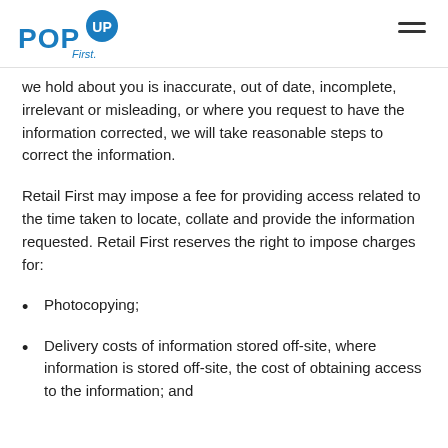Pop Up First logo and navigation
we hold about you is inaccurate, out of date, incomplete, irrelevant or misleading, or where you request to have the information corrected, we will take reasonable steps to correct the information.
Retail First may impose a fee for providing access related to the time taken to locate, collate and provide the information requested. Retail First reserves the right to impose charges for:
Photocopying;
Delivery costs of information stored off-site, where information is stored off-site, the cost of obtaining access to the information; and